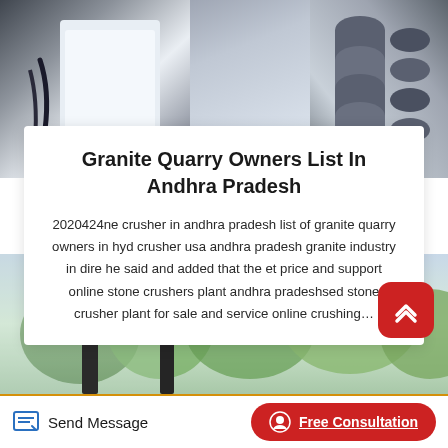[Figure (photo): Industrial machinery / manufacturing equipment photo at the top of the page]
Granite Quarry Owners List In Andhra Pradesh
2020424ne crusher in andhra pradesh list of granite quarry owners in hyd crusher usa andhra pradesh granite industry in dire he said and added that the et price and support online stone crushers plant andhra pradeshsed stone crusher plant for sale and service online crushing…
[Figure (photo): Outdoor scene viewed through a window with green trees and a building frame]
Send Message   Free Consultation